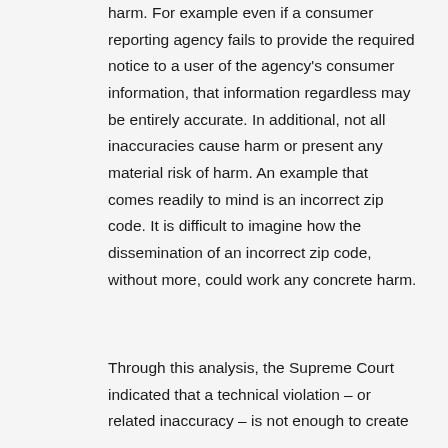harm. For example even if a consumer reporting agency fails to provide the required notice to a user of the agency's consumer information, that information regardless may be entirely accurate. In additional, not all inaccuracies cause harm or present any material risk of harm. An example that comes readily to mind is an incorrect zip code. It is difficult to imagine how the dissemination of an incorrect zip code, without more, could work any concrete harm.
Through this analysis, the Supreme Court indicated that a technical violation – or related inaccuracy – is not enough to create